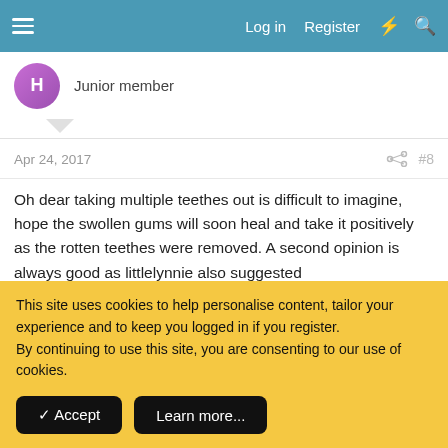Log in  Register
Junior member
Apr 24, 2017  #8
Oh dear taking multiple teethes out is difficult to imagine, hope the swollen gums will soon heal and take it positively as the rotten teethes were removed. A second opinion is always good as littlelynnie also suggested
Xhannahx2467
Member
This site uses cookies to help personalise content, tailor your experience and to keep you logged in if you register.
By continuing to use this site, you are consenting to our use of cookies.